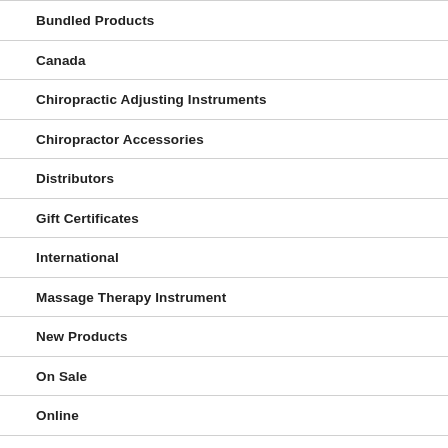Bundled Products
Canada
Chiropractic Adjusting Instruments
Chiropractor Accessories
Distributors
Gift Certificates
International
Massage Therapy Instrument
New Products
On Sale
Online
Pain Relievers